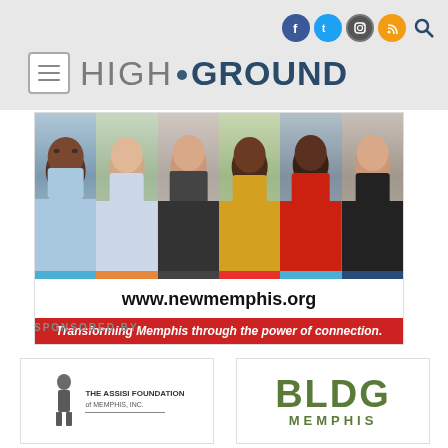HIGH GROUND
[Figure (photo): Advertisement banner for newmemphis.org showing six diverse smiling people in a grid, with colored bars, URL www.newmemphis.org, and tagline 'Transforming Memphis through the power of connection.']
SPONSORED BY
[Figure (logo): The Assisi Foundation of Memphis, Inc. logo with a dark figure statue and text]
[Figure (logo): BLDG Memphis logo with large green text on white background]